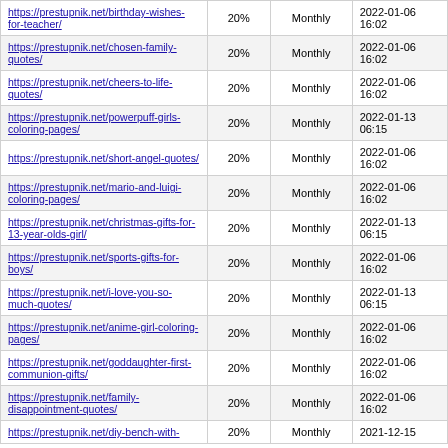| https://prestupnik.net/birthday-wishes-for-teacher/ | 20% | Monthly | 2022-01-06 16:02 |
| https://prestupnik.net/chosen-family-quotes/ | 20% | Monthly | 2022-01-06 16:02 |
| https://prestupnik.net/cheers-to-life-quotes/ | 20% | Monthly | 2022-01-06 16:02 |
| https://prestupnik.net/powerpuff-girls-coloring-pages/ | 20% | Monthly | 2022-01-13 06:15 |
| https://prestupnik.net/short-angel-quotes/ | 20% | Monthly | 2022-01-06 16:02 |
| https://prestupnik.net/mario-and-luigi-coloring-pages/ | 20% | Monthly | 2022-01-06 16:02 |
| https://prestupnik.net/christmas-gifts-for-13-year-olds-girl/ | 20% | Monthly | 2022-01-13 06:15 |
| https://prestupnik.net/sports-gifts-for-boys/ | 20% | Monthly | 2022-01-06 16:02 |
| https://prestupnik.net/i-love-you-so-much-quotes/ | 20% | Monthly | 2022-01-13 06:15 |
| https://prestupnik.net/anime-girl-coloring-pages/ | 20% | Monthly | 2022-01-06 16:02 |
| https://prestupnik.net/goddaughter-first-communion-gifts/ | 20% | Monthly | 2022-01-06 16:02 |
| https://prestupnik.net/family-disappointment-quotes/ | 20% | Monthly | 2022-01-06 16:02 |
| https://prestupnik.net/diy-bench-with- | 20% | Monthly | 2021-12-15 |